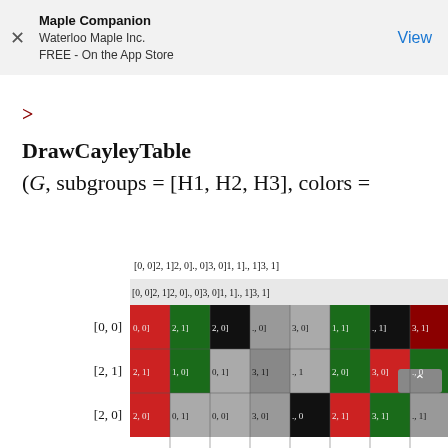Maple Companion
Waterloo Maple Inc.
FREE - On the App Store
View
> DrawCayleyTable
(G, subgroups = [H1, H2, H3], colors =
[Figure (table-as-image): Cayley table with colored cells showing group structure. Header row: [0,0] 2,1] 2,0] ., 0] 3, 0] 1, 1] ., 1] 3, 1]. Row [0,0]: colored cells (red, dark-green, black, gray, gray). Row [2,1]: colored cells. Row [2,0]: colored cells (partially visible).]